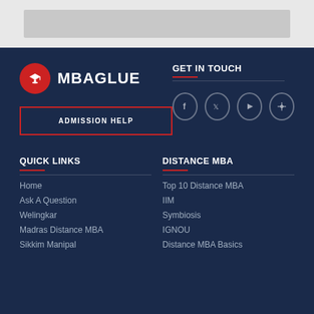[Figure (screenshot): Gray placeholder image box at the top of the page]
[Figure (logo): MBAGLUE logo with red circle containing graduation cap icon and white bold text MBAGLUE]
ADMISSION HELP
GET IN TOUCH
[Figure (other): Social media icons: Facebook, Twitter, YouTube, and a compass/navigation icon in circular bordered buttons]
QUICK LINKS
Home
Ask A Question
Welingkar
Madras Distance MBA
Sikkim Manipal
DISTANCE MBA
Top 10 Distance MBA
IIM
Symbiosis
IGNOU
Distance MBA Basics